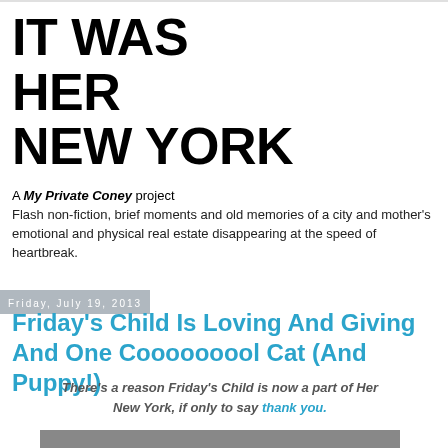IT WAS HER NEW YORK
A My Private Coney project
Flash non-fiction, brief moments and old memories of a city and mother's emotional and physical real estate disappearing at the speed of heartbreak.
Friday, July 19, 2013
Friday's Child Is Loving And Giving And One Cooooooool Cat (And Puppy!)
There's a reason Friday's Child is now a part of Her New York, if only to say thank you.
[Figure (photo): A photo strip partially visible at the bottom of the page]